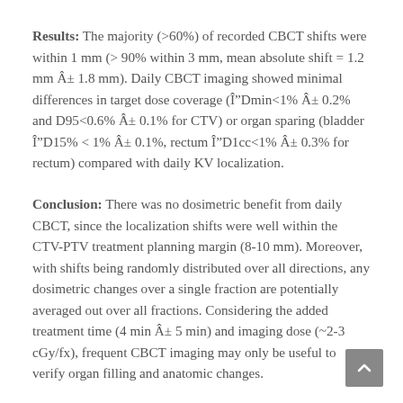Results: The majority (>60%) of recorded CBCT shifts were within 1 mm (> 90% within 3 mm, mean absolute shift = 1.2 mm ± 1.8 mm). Daily CBCT imaging showed minimal differences in target dose coverage (ΔDmin<1% ± 0.2% and D95<0.6% ± 0.1% for CTV) or organ sparing (bladder ΔD15% < 1% ± 0.1%, rectum ΔD1cc<1% ± 0.3% for rectum) compared with daily KV localization.
Conclusion: There was no dosimetric benefit from daily CBCT, since the localization shifts were well within the CTV-PTV treatment planning margin (8-10 mm). Moreover, with shifts being randomly distributed over all directions, any dosimetric changes over a single fraction are potentially averaged out over all fractions. Considering the added treatment time (4 min ± 5 min) and imaging dose (~2-3 cGy/fx), frequent CBCT imaging may only be useful to verify organ filling and anatomic changes.